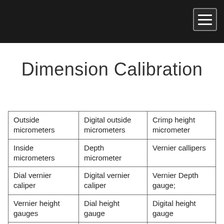[Navigation header bar with menu button]
Dimension Calibration
| Outside micrometers | Digital outside micrometers | Crimp height micrometer |
| Inside micrometers | Depth micrometer | Vernier callipers |
| Dial vernier caliper | Digital vernier caliper | Vernier Depth gauge; |
| Vernier height gauges | Dial height gauge | Digital height gauge |
| Dial indicators | Dial gauges; | Bore gauge |
| Dial thickness gauges | Digital thickness gauges | Measuring scales |